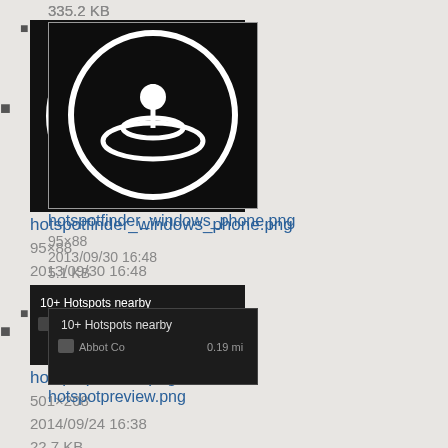335.2 KB
[Figure (screenshot): Black circular icon with a joystick and rings, hotspotfinder windows phone logo]
hotspotfinder_windows_phone.png
95×88
2013/09/30 16:48
5.1 KB
[Figure (screenshot): Dark UI screenshot showing '10+ Hotspots nearby' and 'Abbot Co 0.19 mi']
hotspotpreview.png
501×208
2014/09/24 16:38
22.7 KB
[Figure (screenshot): Small screenshot of a hotspots list application window]
hotspots.jpg